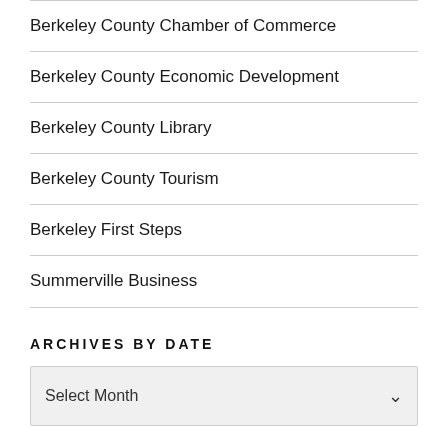Berkeley County Chamber of Commerce
Berkeley County Economic Development
Berkeley County Library
Berkeley County Tourism
Berkeley First Steps
Summerville Business
ARCHIVES BY DATE
Select Month
WEBSITE DESIGN